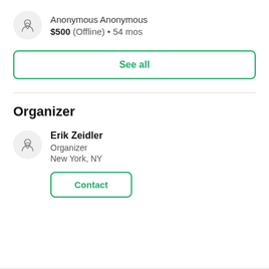Anonymous Anonymous $500 (Offline) • 54 mos
See all
Organizer
Erik Zeidler
Organizer
New York, NY
Contact